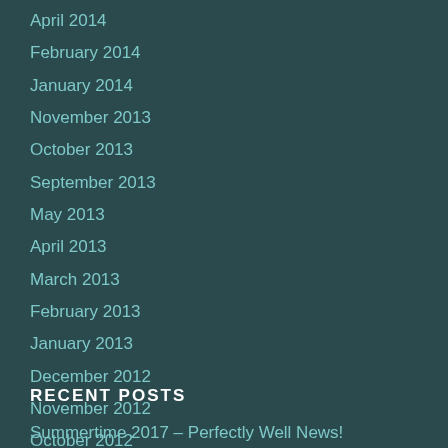April 2014
February 2014
January 2014
November 2013
October 2013
September 2013
May 2013
April 2013
March 2013
February 2013
January 2013
December 2012
November 2012
October 2012
April 2011
RECENT POSTS
Summertime 2017 – Perfectly Well News!